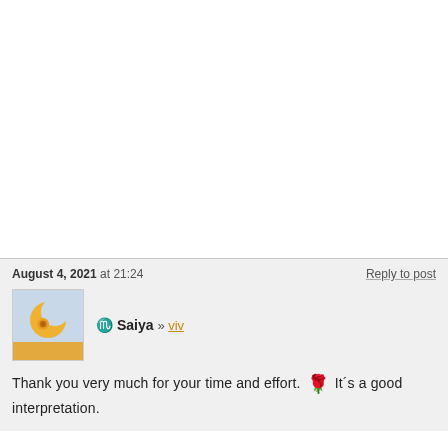August 4, 2021 at 21:24
Reply to post
[Figure (illustration): User avatar: light blue background with an orange crescent moon and spiral eye symbol]
♏ Saiya » viv
Thank you very much for your time and effort. 🌹 It´s a good interpretation.